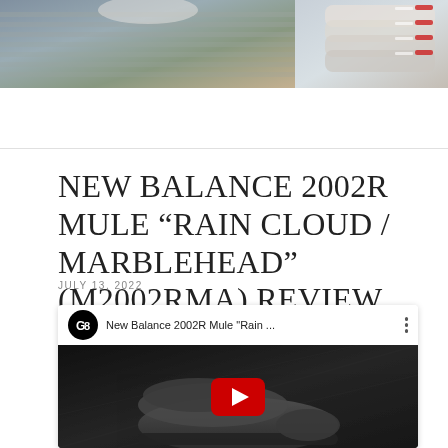[Figure (photo): Two sneaker product photos side by side: left shows a shoe on wooden surface, right shows stacked sneakers with red/white colorway]
NEW BALANCE 2002R MULE “RAIN CLOUD / MARBLEHEAD” (M2002RMA) REVIEW
JULY 13, 2022
[Figure (screenshot): YouTube video embed showing New Balance 2002R Mule 'Rain ...' with channel logo (G8), three-dot menu, and video thumbnail of a dark grey sneaker with YouTube play button]